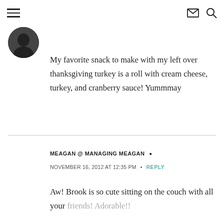≡  ✉  🔍
[Figure (photo): Circular avatar photo, partially visible, dark/black and white image of a person]
My favorite snack to make with my left over thanksgiving turkey is a roll with cream cheese, turkey, and cranberry sauce! Yummmay
MEAGAN @ MANAGING MEAGAN •
NOVEMBER 16, 2012 AT 12:35 PM • REPLY
Aw! Brook is so cute sitting on the couch with all your friends! Adorable!!